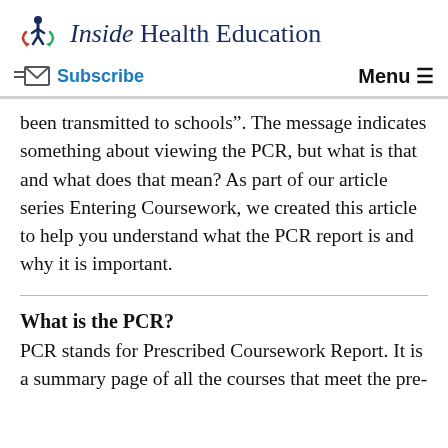Inside Health Education
Subscribe   Menu
been transmitted to schools". The message indicates something about viewing the PCR, but what is that and what does that mean? As part of our article series Entering Coursework, we created this article to help you understand what the PCR report is and why it is important.
What is the PCR?
PCR stands for Prescribed Coursework Report. It is a summary page of all the courses that meet the pre-